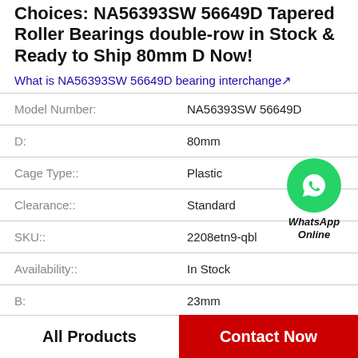Choices: NA56393SW 56649D Tapered Roller Bearings double-row in Stock & Ready to Ship 80mm D Now!
What is NA56393SW 56649D bearing interchange↗
| Property | Value |
| --- | --- |
| Model Number: | NA56393SW 56649D |
| D: | 80mm |
| Cage Type:: | Plastic |
| Clearance:: | Standard |
| SKU:: | 2208etn9-qbl |
| Availability:: | In Stock |
| B: | 23mm |
| Weight:: | 0.02 KGS |
[Figure (illustration): WhatsApp Online contact button with green phone icon circle and bold italic text 'WhatsApp Online']
All Products | Contact Now